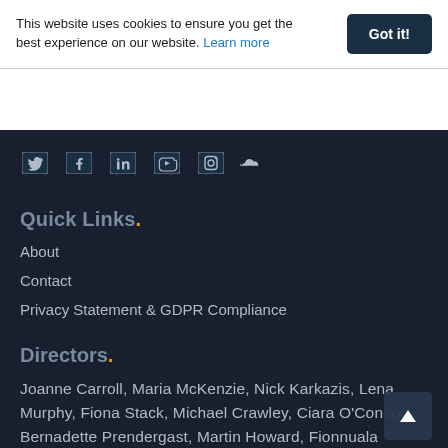This website uses cookies to ensure you get the best experience on our website. Learn more
[Figure (infographic): Social media icons: Twitter, Facebook, LinkedIn, YouTube, Instagram, SoundCloud]
Quick Links.
About
Contact
Privacy Statement & GDPR Compliance
Directors.
Joanne Carroll, Maria McKenzie, Nick Karkazis, Lena Murphy, Fiona Stack, Michael Crawley, Ciara O'Connor, Bernadette Prendergast, Martin Howard, Fionnuala Rabbitt, Patricia Monahan, Trish Laverty, Jonathan Barker